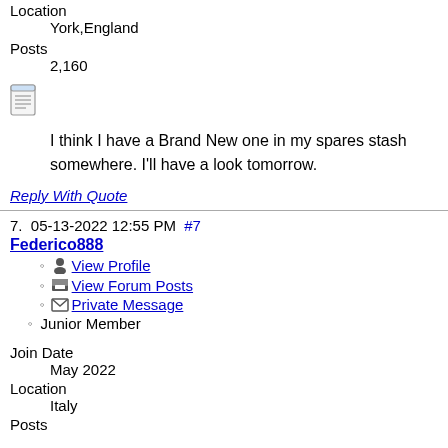Location
York,England
Posts
2,160
[Figure (illustration): Document/notepad icon]
I think I have a Brand New one in my spares stash somewhere. I'll have a look tomorrow.
Reply With Quote
7.  05-13-2022 12:55 PM  #7
Federico888
View Profile
View Forum Posts
Private Message
Junior Member
Join Date
May 2022
Location
Italy
Posts